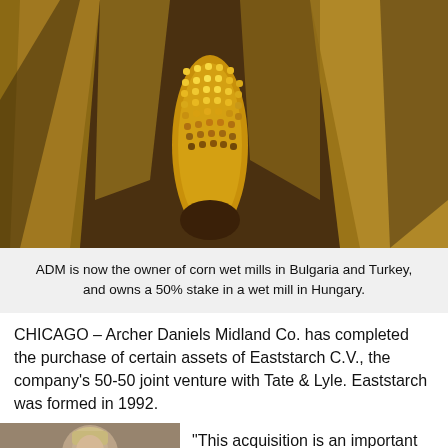[Figure (photo): Close-up photograph of an ear of corn partially unwrapped from its husk, with golden yellow kernels visible, set against warm brown dried husk background with dramatic lighting]
ADM is now the owner of corn wet mills in Bulgaria and Turkey, and owns a 50% stake in a wet mill in Hungary.
CHICAGO – Archer Daniels Midland Co. has completed the purchase of certain assets of Eaststarch C.V., the company's 50-50 joint venture with Tate & Lyle. Eaststarch was formed in 1992.
[Figure (photo): Portrait photo of a person, partially visible, with blond/light hair against a blurred background]
“This acquisition is an important